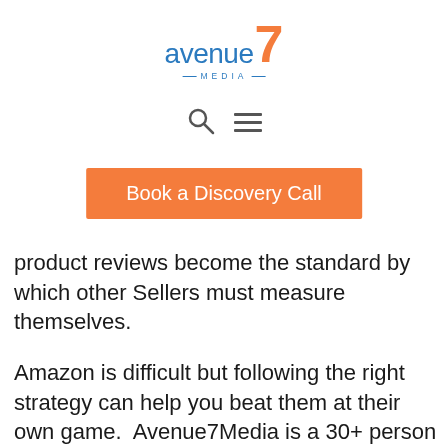[Figure (logo): Avenue7 Media logo with blue text 'avenue' and orange '7', with 'MEDIA' subtitle in blue with decorative lines]
[Figure (infographic): Navigation icons: search (magnifying glass) and hamburger menu]
Book a Discovery Call
product reviews become the standard by which other Sellers must measure themselves.
Amazon is difficult but following the right strategy can help you beat them at their own game.  Avenue7Media is a 30+ person team of Amazon experts running a proven process and delivering an average of 100% growth